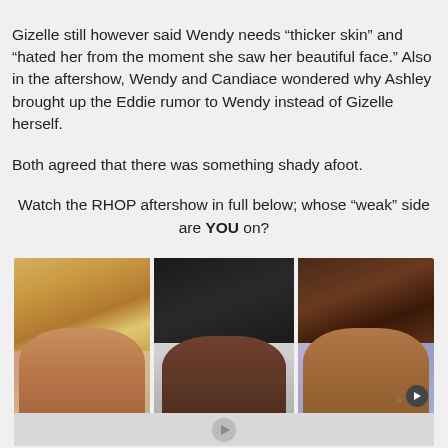Gizelle still however said Wendy needs “thicker skin” and “hated her from the moment she saw her beautiful face.” Also in the aftershow, Wendy and Candiace wondered why Ashley brought up the Eddie rumor to Wendy instead of Gizelle herself.
Both agreed that there was something shady afoot.
Watch the RHOP aftershow in full below; whose “weak” side are YOU on?
[Figure (screenshot): Video thumbnail showing three women (one blonde with light skin, one with dark braids and darker complexion, one with curly hair and medium skin tone) from the RHOP aftershow, with video player controls below.]